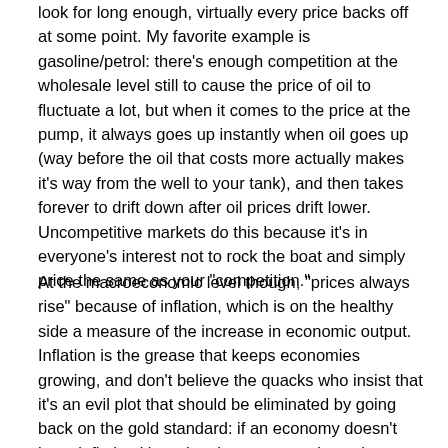look for long enough, virtually every price backs off at some point. My favorite example is gasoline/petrol: there's enough competition at the wholesale level still to cause the price of oil to fluctuate a lot, but when it comes to the price at the pump, it always goes up instantly when oil goes up (way before the oil that costs more actually makes it's way from the well to your tank), and then takes forever to drift down after oil prices drift lower. Uncompetitive markets do this because it's in everyone's interest not to rock the boat and simply price the same as your "competition."
At the macroeconomic level though, "prices always rise" because of inflation, which is on the healthy side a measure of the increase in economic output. Inflation is the grease that keeps economies growing, and don't believe the quacks who insist that it's an evil plot that should be eliminated by going back on the gold standard: if an economy doesn't have inflation it's a sign that everyone is getting poorer in real terms. Now inflation that over time is greater than the growth of economic output is definitely bad, but a little is basically a good way to allow shifts in